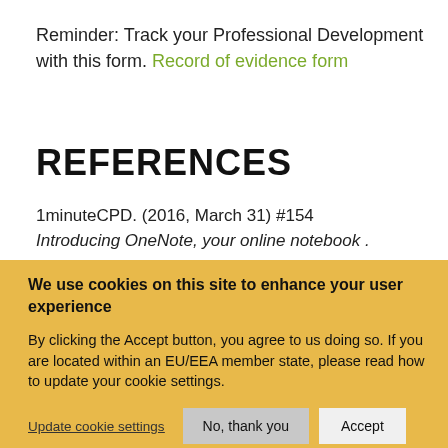Reminder: Track your Professional Development with this form. Record of evidence form
REFERENCES
1minuteCPD. (2016, March 31) #154 Introducing OneNote, your online notebook .
We use cookies on this site to enhance your user experience
By clicking the Accept button, you agree to us doing so. If you are located within an EU/EEA member state, please read how to update your cookie settings.
Update cookie settings
No, thank you
Accept